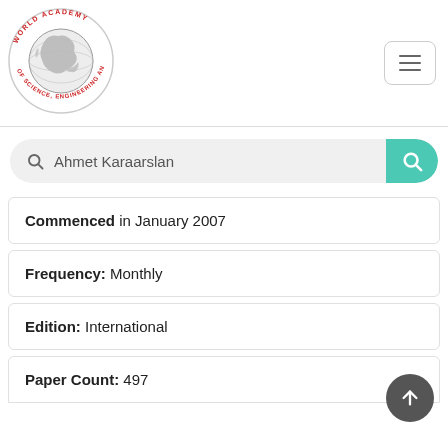[Figure (logo): World Academy of Science, Engineering and Technology circular logo with globe illustration and red text around the border]
Ahmet Karaarslan
Commenced in January 2007
Frequency: Monthly
Edition: International
Paper Count: 497